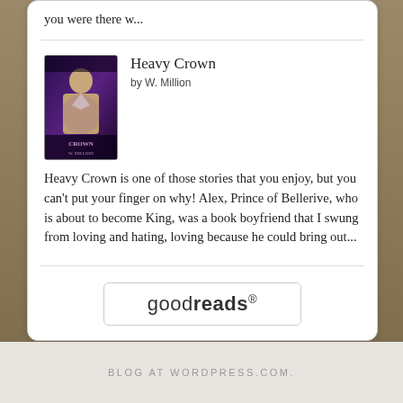you were there w...
Heavy Crown
by W. Million
Heavy Crown is one of those stories that you enjoy, but you can't put your finger on why! Alex, Prince of Bellerive, who is about to become King, was a book boyfriend that I swung from loving and hating, loving because he could bring out...
[Figure (logo): Goodreads logo button with rounded rectangle border]
BLOG AT WORDPRESS.COM.